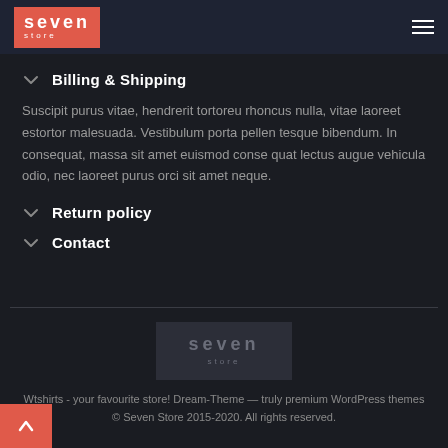[Figure (logo): Seven Store logo - red background with 'seven' in bold white letters and 'store' below in smaller white letters]
Billing & Shipping
Suscipit purus vitae, hendrerit tortoreu rhoncus nulla, vitae laoreet estortor malesuada. Vestibulum porta pellen tesque bibendum. In consequat, massa sit amet euismod conse quat lectus augue vehicula odio, nec laoreet purus orci sit amet neque.
Return policy
Contact
[Figure (logo): Seven Store footer logo - dark grey background with 'seven' in grey letters and 'store' below]
Wtshirts - your favourite store! Dream-Theme — truly premium WordPress themes
© Seven Store 2015-2020. All rights reserved.